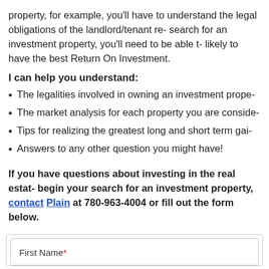property, for example, you'll have to understand the legal obligations of the landlord/tenant re- search for an investment property, you'll need to be able t- likely to have the best Return On Investment.
I can help you understand:
The legalities involved in owning an investment prope-
The market analysis for each property you are conside-
Tips for realizing the greatest long and short term gai-
Answers to any other question you might have!
If you have questions about investing in the real estat- begin your search for an investment property, contact Plain at 780-963-4004 or fill out the form below.
[Figure (other): Contact form with First Name field (required)]